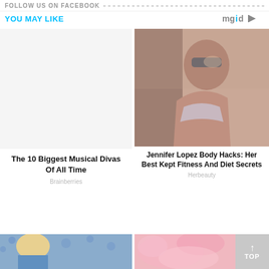FOLLOW US ON FACEBOOK
YOU MAY LIKE
mgid
[Figure (photo): Blank placeholder image area for left card]
The 10 Biggest Musical Divas Of All Time
Brainberries
[Figure (photo): Jennifer Lopez in bikini top with sunglasses, looking up in sunlight]
Jennifer Lopez Body Hacks: Her Best Kept Fitness And Diet Secrets
Herbeauty
[Figure (photo): Bottom left thumbnail - person with blonde short hair]
[Figure (photo): Bottom right thumbnail - pink fluffy texture]